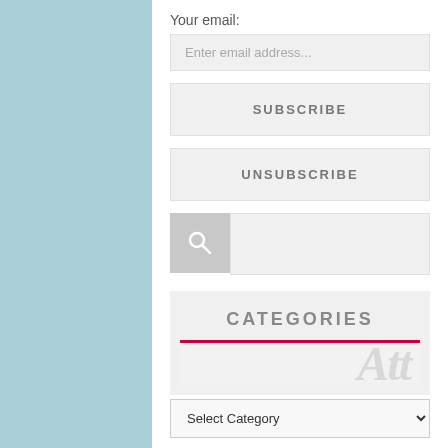Your email:
Enter email address...
SUBSCRIBE
UNSUBSCRIBE
[Figure (other): Search bar with magnifying glass icon on the left (gray background) and empty text input on the right]
CATEGORIES
Select Category